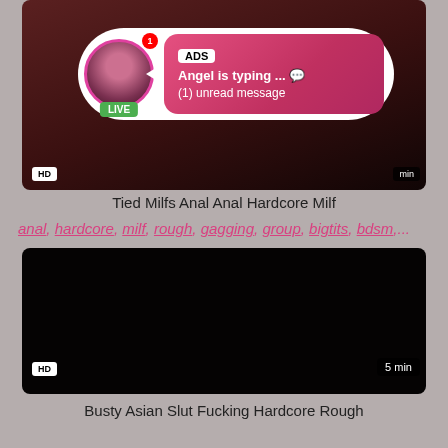[Figure (screenshot): Video thumbnail for 'Tied Milfs Anal Anal Hardcore Milf' with HD badge and LIVE notification popup showing 'ADS Angel is typing ... (1) unread message']
Tied Milfs Anal Anal Hardcore Milf
anal, hardcore, milf, rough, gagging, group, bigtits, bdsm,...
[Figure (screenshot): Dark video thumbnail for 'Busty Asian Slut Fucking Hardcore Rough' with HD badge and 5 min label]
Busty Asian Slut Fucking Hardcore Rough